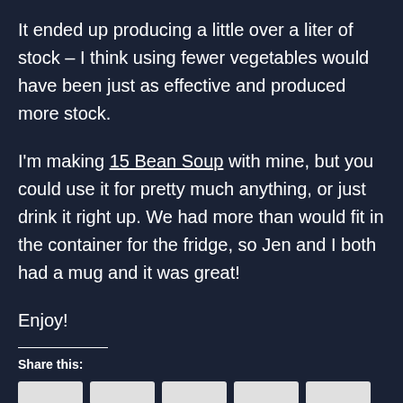It ended up producing a little over a liter of stock – I think using fewer vegetables would have been just as effective and produced more stock.
I'm making 15 Bean Soup with mine, but you could use it for pretty much anything, or just drink it right up. We had more than would fit in the container for the fridge, so Jen and I both had a mug and it was great!
Enjoy!
Share this: